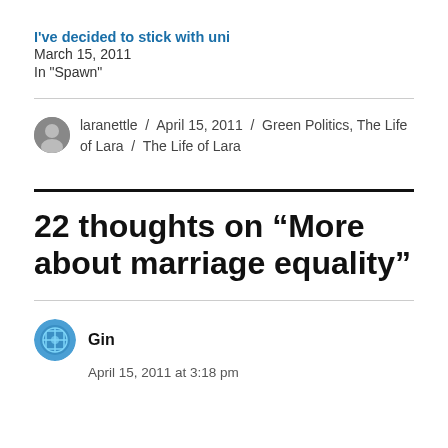I've decided to stick with uni
March 15, 2011
In "Spawn"
laranettle / April 15, 2011 / Green Politics, The Life of Lara / The Life of Lara
22 thoughts on “More about marriage equality”
Gin
April 15, 2011 at 3:18 pm